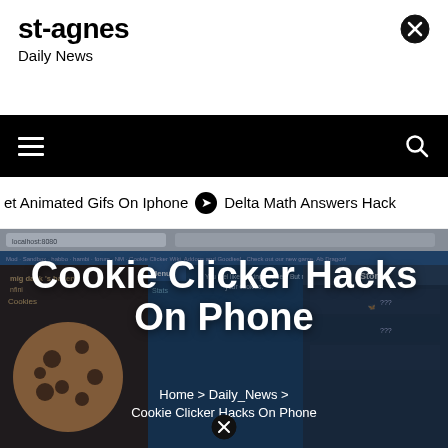st-agnes
Daily News
[Figure (screenshot): Navigation bar with hamburger menu icon on left and search icon on right, black background]
et Animated Gifs On Iphone   ⊙ Delta Math Answers Hack
[Figure (screenshot): Cookie Clicker game screenshot used as hero background image with a large chocolate chip cookie on the left and game interface panels]
Cookie Clicker Hacks On Phone
Home > Daily_News > Cookie Clicker Hacks On Phone